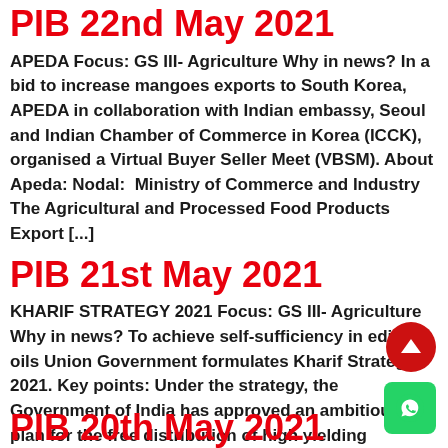PIB 22nd May 2021
APEDA Focus: GS III- Agriculture Why in news? In a bid to increase mangoes exports to South Korea, APEDA in collaboration with Indian embassy, Seoul and Indian Chamber of Commerce in Korea (ICCK), organised a Virtual Buyer Seller Meet (VBSM). About Apeda: Nodal:  Ministry of Commerce and Industry The Agricultural and Processed Food Products Export [...]
PIB 21st May 2021
KHARIF STRATEGY 2021 Focus: GS III- Agriculture Why in news? To achieve self-sufficiency in edible oils Union Government formulates Kharif Strategy 2021. Key points: Under the strategy, the Government of India has approved an ambitious plan for the free distribution of high yielding varieties of seeds to the farmers for the Kharif season 2021 in [...]
PIB 20th May 2021